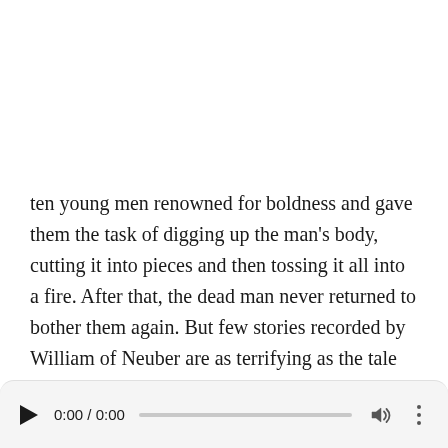ten young men renowned for boldness and gave them the task of digging up the man's body, cutting it into pieces and then tossing it all into a fire. After that, the dead man never returned to bother them again. But few stories recorded by William of Neuber are as terrifying as the tale of the hound priest. He was called that because one he was a priest and too he enjoyed hunting with the help of dogs. Honestly,
[Figure (other): Audio player UI with play button, time display showing 0:00 / 0:00, progress bar, volume icon, and more options icon]